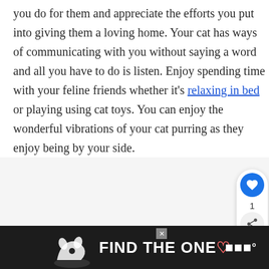you do for them and appreciate the efforts you put into giving them a loving home. Your cat has ways of communicating with you without saying a word and all you have to do is listen. Enjoy spending time with your feline friends whether it's relaxing in bed or playing using cat toys. You can enjoy the wonderful vibrations of your cat purring as they enjoy being by your side.
[Figure (infographic): Social share sidebar with heart like button (blue circle with white heart icon), like count '1', and share button (gray circle with share icon)]
[Figure (infographic): What's Next panel with circular thumbnail image of a cat/dog and text 'Do Cats Know When You A...' with blue 'WHAT'S NEXT →' label]
[Figure (infographic): Advertisement banner with dark background showing a dog silhouette and text 'FIND THE ONE' with a heart symbol, close button X, and WM logo]